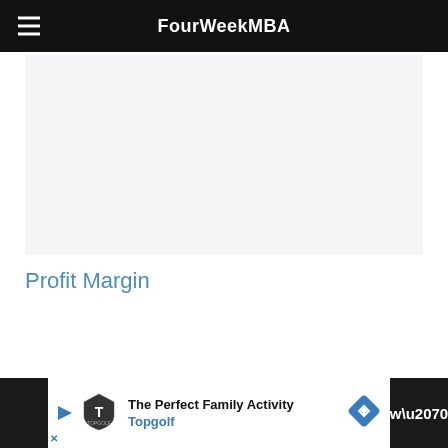FourWeekMBA
[Figure (other): Light gray rectangular placeholder area for an image or chart]
Profit Margin
The Perfect Family Activity Topgolf